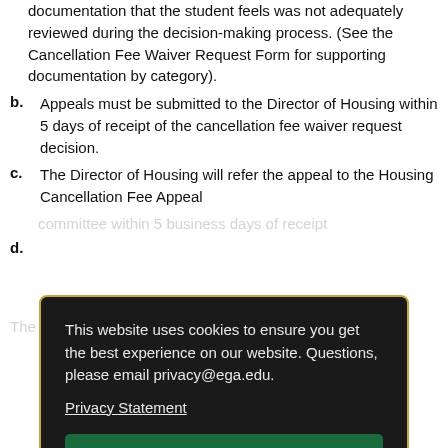documentation that the student feels was not adequately reviewed during the decision-making process. (See the Cancellation Fee Waiver Request Form for supporting documentation by category).
b. Appeals must be submitted to the Director of Housing within 5 days of receipt of the cancellation fee waiver request decision.
c. The Director of Housing will refer the appeal to the Housing Cancellation Fee Appeal
d. [obscured by overlay]
e. [obscured by overlay]
This website uses cookies to ensure you get the best experience on our website. Questions, please email privacy@ega.edu. Privacy Statement
The student has 5 days to appeal to the